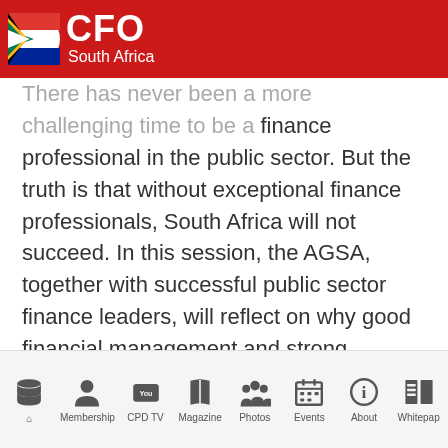CFO South Africa
There has never been a more challenging time to be a finance professional in the public sector. But the truth is that without exceptional finance professionals, South Africa will not succeed. In this session, the AGSA, together with successful public sector finance leaders, will reflect on why good financial management and strong governance are everyone's responsibility. And most importantly, why this is the best enabler of service delivery. Join this session for ideas on toughing it out, why passion is key and how you can make a difference.
Home | Membership | CPD TV | Magazine | Photos | Events | About | Whitepaper